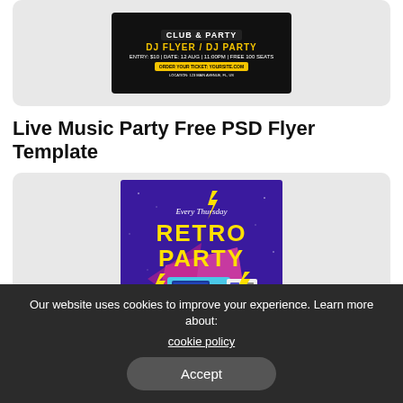[Figure (photo): DJ Club & Party flyer image on grey rounded card background showing a black flyer with yellow text 'DJ FLYER / DJ PARTY']
Live Music Party Free PSD Flyer Template
[Figure (photo): Retro Party 80's-90's flyer on grey rounded card, purple background with pixelated yellow text 'RETRO PARTY', retro computer and cassette illustration, text 'Every Thursday' and '80'S-90'S']
Our website uses cookies to improve your experience. Learn more about: cookie policy
Accept